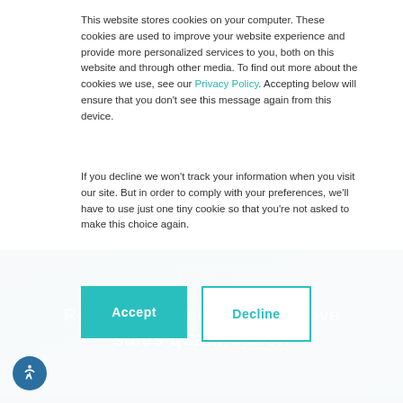This website stores cookies on your computer. These cookies are used to improve your website experience and provide more personalized services to you, both on this website and through other media. To find out more about the cookies we use, see our Privacy Policy. Accepting below will ensure that you don't see this message again from this device.
If you decline we won't track your information when you visit our site. But in order to comply with your preferences, we'll have to use just one tiny cookie so that you're not asked to make this choice again.
[Figure (screenshot): Accept and Decline cookie consent buttons]
Resources to help you improve sales qualification
[Figure (photo): Background image of a keyboard with blue teal overlay tones]